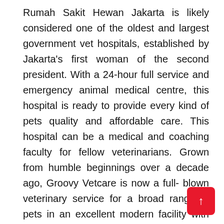Rumah Sakit Hewan Jakarta is likely considered one of the oldest and largest government vet hospitals, established by Jakarta's first woman of the second president. With a 24-hour full service and emergency animal medical centre, this hospital is ready to provide every kind of pets quality and affordable care. This hospital can be a medical and coaching faculty for fellow veterinarians. Grown from humble beginnings over a decade ago, Groovy Vetcare is now a full- blown veterinary service for a broad range of pets in an excellent modern facility with state-of-the-art equipment. This clinic offers a extensive range of providers from primary check-ups to vaccinations, dental care, physiotherapy, micro chipping and home visits. Groovy Vetcare is also one of the only animal hospitals in the metropolis that has an emergency hotline.